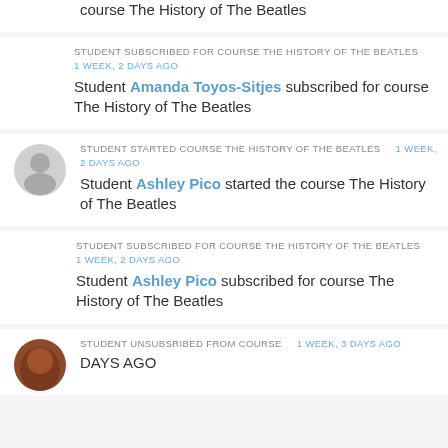course The History of The Beatles
STUDENT SUBSCRIBED FOR COURSE THE HISTORY OF THE BEATLES   1 WEEK, 2 DAYS AGO
Student Amanda Toyos-Sitjes subscribed for course The History of The Beatles
STUDENT STARTED COURSE THE HISTORY OF THE BEATLES   1 WEEK, 2 DAYS AGO
Student Ashley Pico started the course The History of The Beatles
STUDENT SUBSCRIBED FOR COURSE THE HISTORY OF THE BEATLES   1 WEEK, 2 DAYS AGO
Student Ashley Pico subscribed for course The History of The Beatles
STUDENT UNSUBSRIBED FROM COURSE   1 WEEK, 3 DAYS AGO